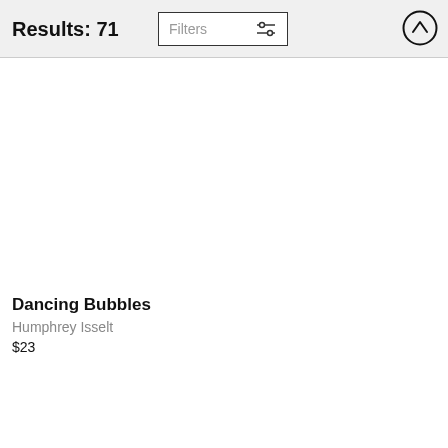Results: 71
[Figure (screenshot): Filters button with sliders icon]
[Figure (screenshot): Up arrow button in circle]
Dancing Bubbles
Humphrey Isselt
$23